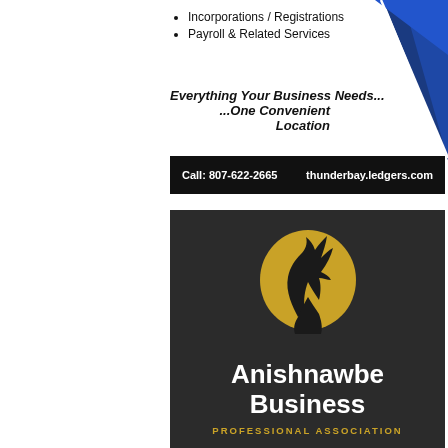Incorporations / Registrations
Payroll & Related Services
Everything Your Business Needs...
...One Convenient Location
Call: 807-622-2665     thunderbay.ledgers.com
[Figure (logo): Anishnawbe Business Professional Association logo with wolf howling in front of golden moon on dark background]
Anishnawbe Business
PROFESSIONAL ASSOCIATION